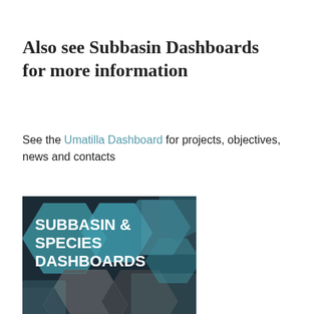Also see Subbasin Dashboards for more information
See the Umatilla Dashboard for projects, objectives, news and contacts
[Figure (illustration): Promotional banner image for Subbasin & Species Dashboards, featuring teal and grey hexagonal shapes with wildlife imagery and bold white text reading SUBBASIN & SPECIES DASHBOARDS on a dark background.]